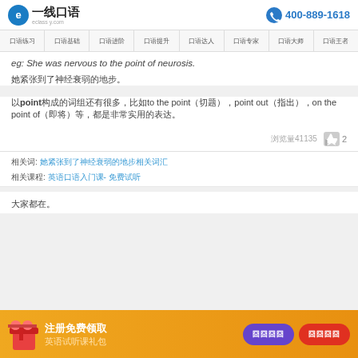一线口语  400-889-1618
口语练习 口语基础 口语进阶 口语提升 口语达人 口语专家 口语大师 口语王者
eg: She was nervous to the point of neurosis.
她紧张到了神经衰弱的地步。
以point构成的词组还有很多，比如to the point（切题），point out（指出），on the point of（即将）等，都是非常实用的表达。
浏览量41135  👍 2
相关词：她紧张到了神经衰弱的地步相关词汇
相关课程：英语口语入门课- 免费试听
大家都在。
注册免费领取英语试听课礼包